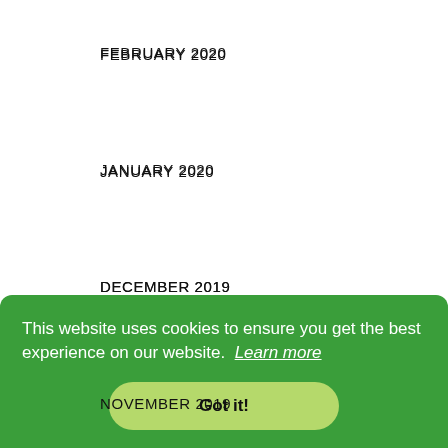FEBRUARY 2020
JANUARY 2020
DECEMBER 2019
NOVEMBER 2019
OCTOBER 2019
SEPTEMBER 2019
This website uses cookies to ensure you get the best experience on our website. Learn more
Got it!